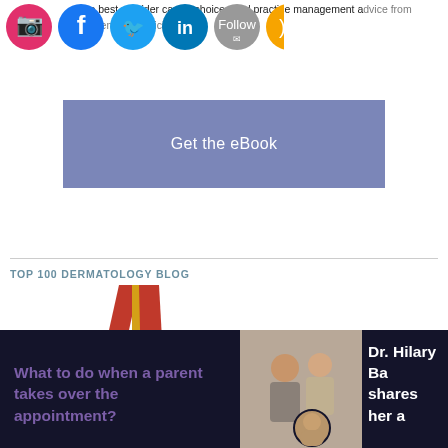go to best provider career choices and practice management advice from experienced physicians.
[Figure (screenshot): Social media icons: Instagram, Facebook, Twitter, LinkedIn, Email/Follow, RSS feed]
[Figure (other): Get the eBook button - purple/slate colored call-to-action button]
TOP 100 DERMATOLOGY BLOG
[Figure (illustration): Gold award medal with red ribbon. Text on medal reads: AWARDED TOP 100 DERMATOLOGY BLOG]
What to do when a parent takes over the appointment?
[Figure (photo): Photo of two women in a professional setting, with a circular portrait of an older woman below]
Dr. Hilary Ba shares her a